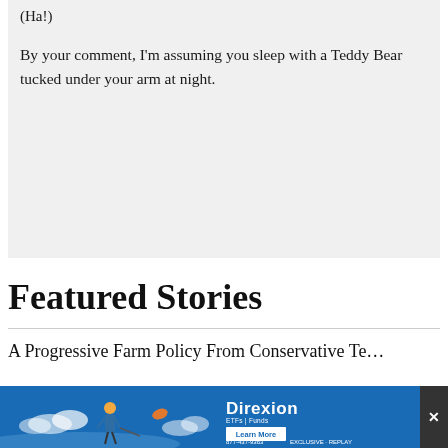(Ha!)
By your comment, I'm assuming you sleep with a Teddy Bear tucked under your arm at night.
Featured Stories
A Progressive Farm Policy From Conservative Te…
[Figure (other): Direxion advertisement banner with illustrated figures on blue background, showing 'Direxion' brand name, 'Learn More' button, phone number, and a close button (X) on the right]